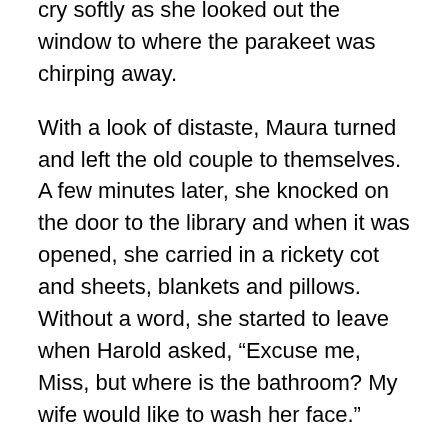cry softly as she looked out the window to where the parakeet was chirping away.
With a look of distaste, Maura turned and left the old couple to themselves. A few minutes later, she knocked on the door to the library and when it was opened, she carried in a rickety cot and sheets, blankets and pillows. Without a word, she started to leave when Harold asked, “Excuse me, Miss, but where is the bathroom? My wife would like to wash her face.”
“It’s at the top of the stairs, on the left.”
“Oh, you don’t have one on this floor? My wife has a very hard time with stairs.” Harold nodded toward the walker that Florence was leaning on.
“Oh, all right, she can use the bathroom down here, but